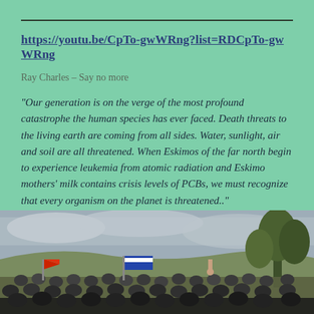https://youtu.be/CpTo-gwWRng?list=RDCpTo-gwWRng
Ray Charles – Say no more
“Our generation is on the verge of the most profound catastrophe the human species has ever faced. Death threats to the living earth are coming from all sides. Water, sunlight, air and soil are all threatened. When Eskimos of the far north begin to experience leukemia from atomic radiation and Eskimo mothers’ milk contains crisis levels of PCBs, we must recognize that every organism on the planet is threatened..”
[Figure (photo): A large crowd of protesters gathered on a hillside under a cloudy sky, with flags and banners visible, trees on the right side.]